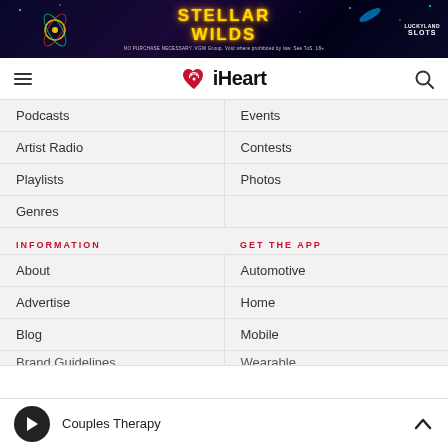[Figure (illustration): Stellar Wilds advertisement banner with LuckyLand Slots branding on dark space background]
iHeart navigation bar with hamburger menu, iHeart logo, and search icon
Podcasts
Events
Artist Radio
Contests
Playlists
Photos
Genres
INFORMATION
GET THE APP
About
Automotive
Advertise
Home
Blog
Mobile
Couples Therapy — player bar